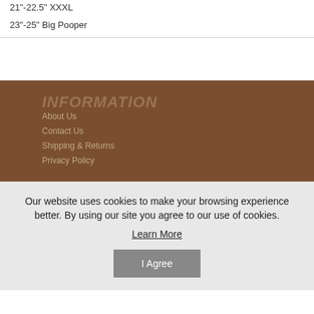21"-22.5" XXXL
23"-25" Big Pooper
INFORMATION
About Us
Contact Us
Shipping & Returns
Privacy Policy
Our website uses cookies to make your browsing experience better. By using our site you agree to our use of cookies.
Learn More
I Agree